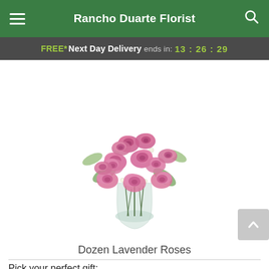Rancho Duarte Florist
FREE* Next Day Delivery ends in: 13:26:29
[Figure (photo): A bouquet of approximately 12 pink/lavender roses with white wax flowers and green foliage arranged in a clear glass vase.]
Dozen Lavender Roses
Pick your perfect gift: